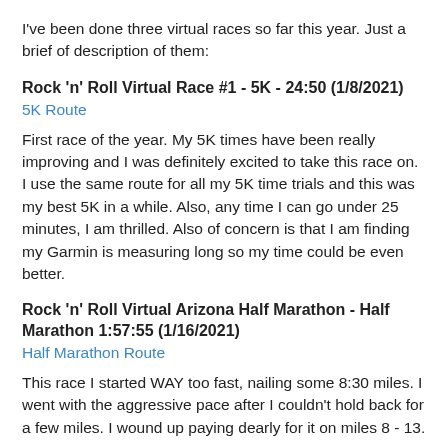I've been done three virtual races so far this year.  Just a brief of description of them:
Rock 'n' Roll Virtual Race #1  - 5K - 24:50 (1/8/2021)
5K Route
First race of the year.  My 5K times have been really improving and I was definitely excited to take this race on.  I use the same route for all my 5K time trials and this was my best 5K in a while.  Also, any time I can go under 25 minutes, I am thrilled.  Also of concern is that I am finding my Garmin is measuring long so my time could be even better.
Rock 'n' Roll Virtual Arizona Half Marathon - Half Marathon 1:57:55 (1/16/2021)
Half Marathon Route
This race I started WAY too fast, nailing some 8:30 miles.  I went with the aggressive pace after I couldn't hold back for a few miles.  I wound up paying dearly for it on miles 8 - 13.
If you'd asked about the Garmin is at the end, you'll notice...